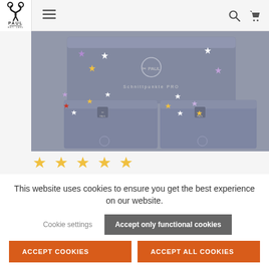[Figure (screenshot): Website navigation bar with PAUL scissors logo, hamburger menu icon, search icon, and cart icon on a light gray background]
[Figure (photo): Three gray gift boxes decorated with colorful stars (white, yellow, purple, red) arranged on a gray surface, labeled with Paul branding]
[Figure (other): Star rating row showing 5 yellow stars in a light gray band]
This website uses cookies to ensure you get the best experience on our website.
Cookie settings
Accept only functional cookies
ACCEPT COOKIES
ACCEPT ALL COOKIES